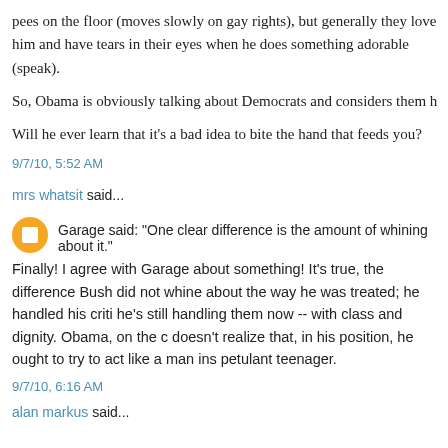pees on the floor (moves slowly on gay rights), but generally they love him and have tears in their eyes when he does something adorable (speak).
So, Obama is obviously talking about Democrats and considers them h
Will he ever learn that it’s a bad idea to bite the hand that feeds you?
9/7/10, 5:52 AM
mrs whatsit said...
Garage said: "One clear difference is the amount of whining about it."
Finally! I agree with Garage about something! It's true, the difference Bush did not whine about the way he was treated; he handled his criti he's still handling them now -- with class and dignity. Obama, on the c doesn't realize that, in his position, he ought to try to act like a man ins petulant teenager.
9/7/10, 6:16 AM
alan markus said...